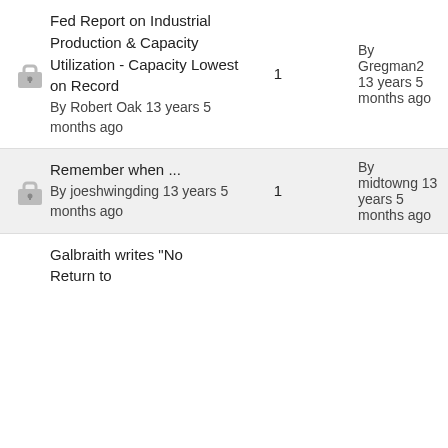Fed Report on Industrial Production & Capacity Utilization - Capacity Lowest on Record By Robert Oak 13 years 5 months ago | 1 | By Gregman2 13 years 5 months ago
Remember when ... By joeshwingding 13 years 5 months ago | 1 | By midtowng 13 years 5 months ago
Galbraith writes "No Return to...